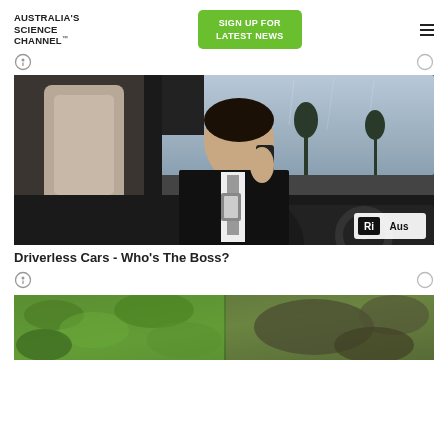AUSTRALIA'S SCIENCE CHANNEL™
SIGN UP FOR LATEST NEWS
[Figure (photo): Man in suit sitting in a car driver seat, talking on phone while looking down at documents, a steering wheel visible on the right, overcast day outside]
Driverless Cars - Who's The Boss?
[Figure (photo): Close-up of green textured material with a gloved hand, partially cropped at page bottom]